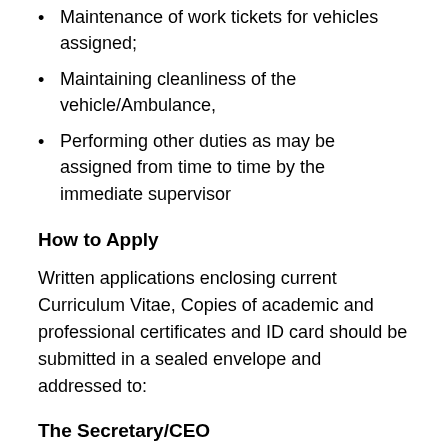Maintenance of work tickets for vehicles assigned;
Maintaining cleanliness of the vehicle/Ambulance,
Performing other duties as may be assigned from time to time by the immediate supervisor
How to Apply
Written applications enclosing current Curriculum Vitae, Copies of academic and professional certificates and ID card should be submitted in a sealed envelope and addressed to:
The Secretary/CEO
Makueni County Public Service Board
P.O. Box 49 – 90300